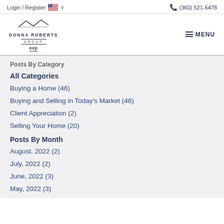Login / Register  (360) 521-5478
[Figure (logo): Donna Roberts Group eXp Realty logo with house outline above text]
Posts By Category
All Categories
Buying a Home  (46)
Buying and Selling in Today's Market  (46)
Client Appreciation  (2)
Selling Your Home  (20)
Posts By Month
August, 2022  (2)
July, 2022  (2)
June, 2022  (3)
May, 2022  (3)